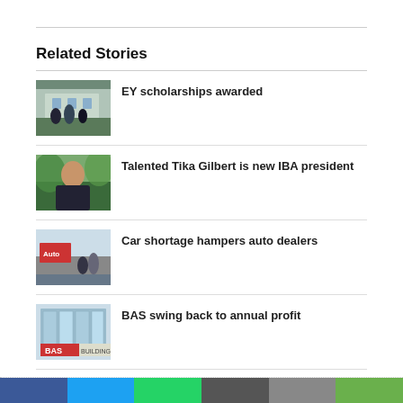Related Stories
[Figure (photo): Group of people standing outdoors in front of a building]
EY scholarships awarded
[Figure (photo): Portrait of a woman in a blazer outdoors]
Talented Tika Gilbert is new IBA president
[Figure (photo): Two men standing in front of an auto dealership with a red sign]
Car shortage hampers auto dealers
[Figure (photo): BAS Building exterior with red BAS sign and glass facade]
BAS swing back to annual profit